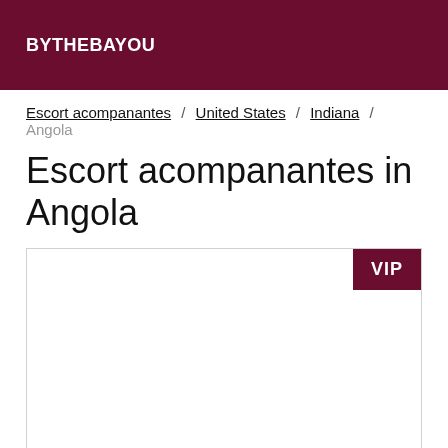BYTHEBAYOU
Escort acompanantes / United States / Indiana / Angola
Escort acompanantes in Angola
[Figure (other): Listing card with VIP badge in the top-right corner, white content area below]